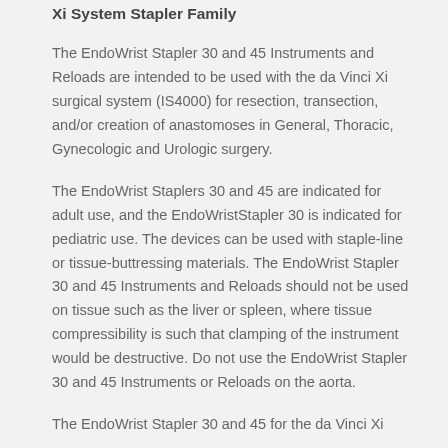Xi System Stapler Family
The EndoWrist Stapler 30 and 45 Instruments and Reloads are intended to be used with the da Vinci Xi surgical system (IS4000) for resection, transection, and/or creation of anastomoses in General, Thoracic, Gynecologic and Urologic surgery.
The EndoWrist Staplers 30 and 45 are indicated for adult use, and the EndoWristStapler 30 is indicated for pediatric use. The devices can be used with staple-line or tissue-buttressing materials. The EndoWrist Stapler 30 and 45 Instruments and Reloads should not be used on tissue such as the liver or spleen, where tissue compressibility is such that clamping of the instrument would be destructive. Do not use the EndoWrist Stapler 30 and 45 Instruments or Reloads on the aorta.
The EndoWrist Stapler 30 and 45 for the da Vinci Xi